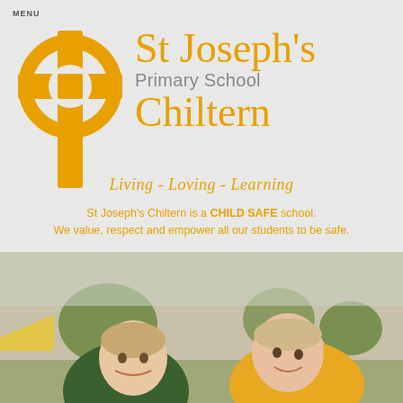MENU
[Figure (logo): St Joseph's Primary School Chiltern logo — golden Celtic cross on left, school name text on right in gold/grey]
St Joseph's Primary School Chiltern
Living - Loving - Learning
St Joseph's Chiltern is a CHILD SAFE school. We value, respect and empower all our students to be safe.
[Figure (photo): Two young boys in school uniforms (green and gold) leaning forward outdoors at a school sports/athletics event, trees and tents visible in background]